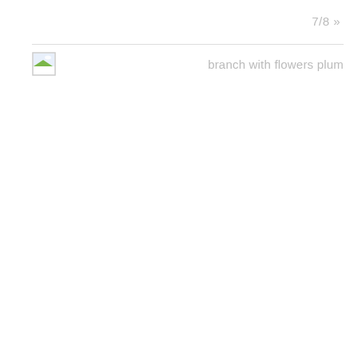7/8 »
[Figure (illustration): Broken image icon placeholder with a small landscape thumbnail (mountains and sky)]
branch with flowers plum